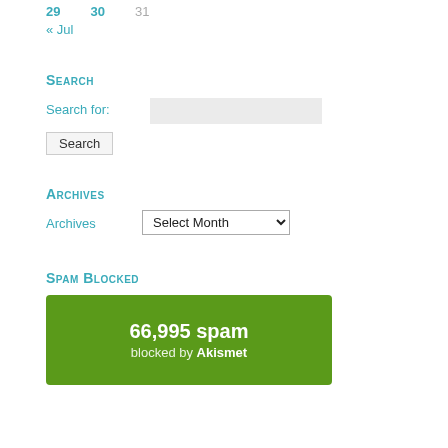29  30  31
« Jul
Search
Search for:
Archives
Archives  Select Month
Spam Blocked
66,995 spam blocked by Akismet